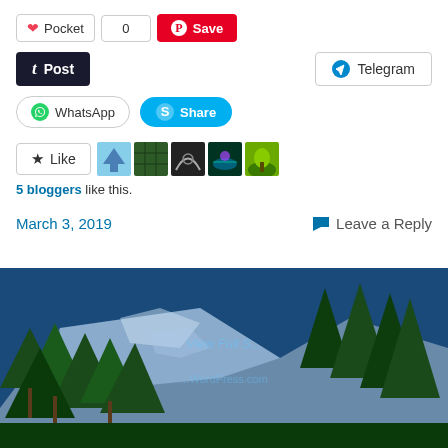[Figure (screenshot): Social sharing buttons: Pocket, Save (Pinterest), Post (Tumblr), Telegram, WhatsApp, Skype Share]
[Figure (screenshot): Like button with 5 blogger avatar thumbnails]
5 bloggers like this.
March 3, 2019    Leave a Reply
[Figure (photo): Mountain landscape with pine trees in foreground and rocky cliff in background with watermark text]